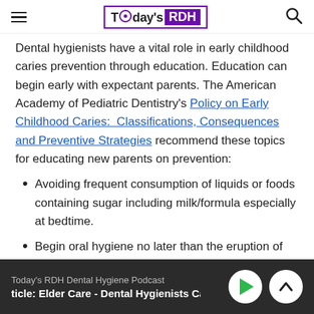Today's RDH
Dental hygienists have a vital role in early childhood caries prevention through education. Education can begin early with expectant parents. The American Academy of Pediatric Dentistry's Policy on Early Childhood Caries:  Classifications, Consequences and Preventive Strategies recommend these topics for educating new parents on prevention:
Avoiding frequent consumption of liquids or foods containing sugar including milk/formula especially at bedtime.
Begin oral hygiene no later than the eruption of the first primary tooth, begin massage of the gums prior to
Today's RDH Dental Hygiene Podcast
ticle: Elder Care - Dental Hygienists Can Help